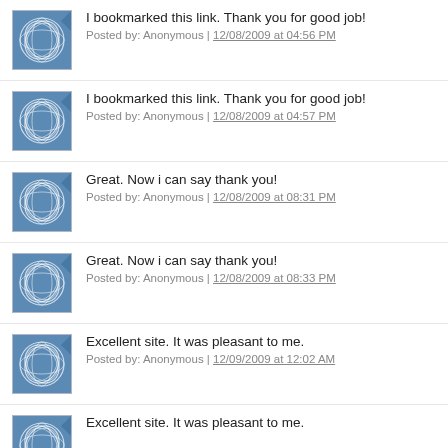I bookmarked this link. Thank you for good job!
Posted by: Anonymous | 12/08/2009 at 04:56 PM
I bookmarked this link. Thank you for good job!
Posted by: Anonymous | 12/08/2009 at 04:57 PM
Great. Now i can say thank you!
Posted by: Anonymous | 12/08/2009 at 08:31 PM
Great. Now i can say thank you!
Posted by: Anonymous | 12/08/2009 at 08:33 PM
Excellent site. It was pleasant to me.
Posted by: Anonymous | 12/09/2009 at 12:02 AM
Excellent site. It was pleasant to me.